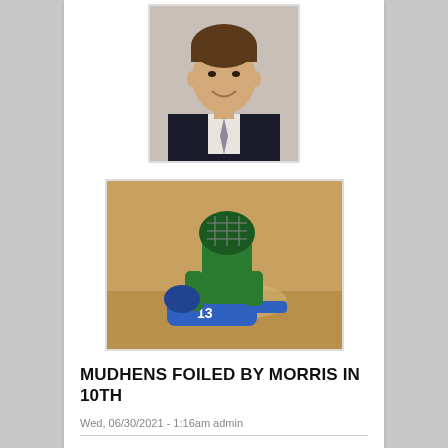[Figure (photo): Headshot portrait of a man in a dark suit and tie, smiling, on a neutral background]
[Figure (photo): Baseball action photo showing a catcher in green uniform and a player in blue jersey number 13 sliding, on a dirt field]
MUDHENS FOILED BY MORRIS IN 10TH
Wed, 06/30/2021 - 1:16am admin
In a pitcher's duel on a perfect night for baseball, the Morris Eagles outlasted the Minneota Mudhens 2-1 at K.P. Kompelien Field Friday night in Minneota.
Read more